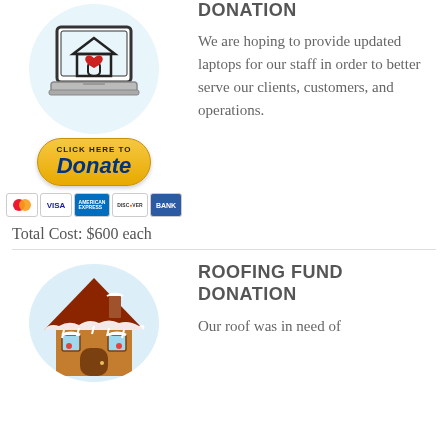[Figure (illustration): Laptop with house and heart icon on screen, PayPal-style donate button, payment icons (MasterCard, VISA, AmericanExpress, Discover, Bank)]
DONATION
We are hoping to provide updated laptops for our staff in order to better serve our clients, customers, and operations.
Total Cost: $600 each
[Figure (illustration): Gingerbread house illustration inside a light blue circle]
ROOFING FUND DONATION
Our roof was in need of